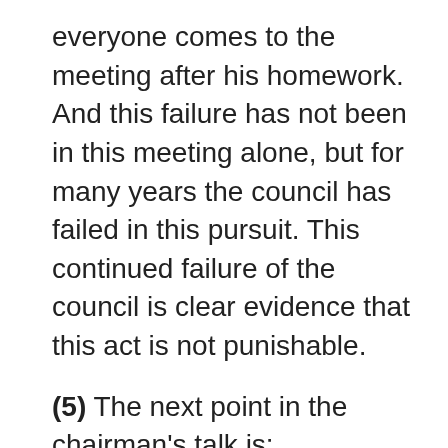everyone comes to the meeting after his homework. And this failure has not been in this meeting alone, but for many years the council has failed in this pursuit. This continued failure of the council is clear evidence that this act is not punishable.
(5) The next point in the chairman's talk is: “women and children are badly